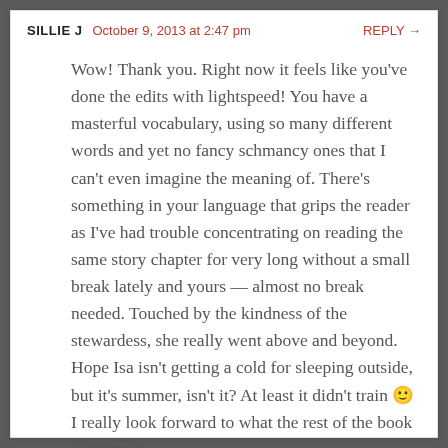SILLIE J   October 9, 2013 at 2:47 pm   REPLY →
Wow! Thank you. Right now it feels like you've done the edits with lightspeed! You have a masterful vocabulary, using so many different words and yet no fancy schmancy ones that I can't even imagine the meaning of. There's something in your language that grips the reader as I've had trouble concentrating on reading the same story chapter for very long without a small break lately and yours — almost no break needed. Touched by the kindness of the stewardess, she really went above and beyond. Hope Isa isn't getting a cold for sleeping outside, but it's summer, isn't it? At least it didn't train 🙂 I really look forward to what the rest of the book will bring.
★ Loading...